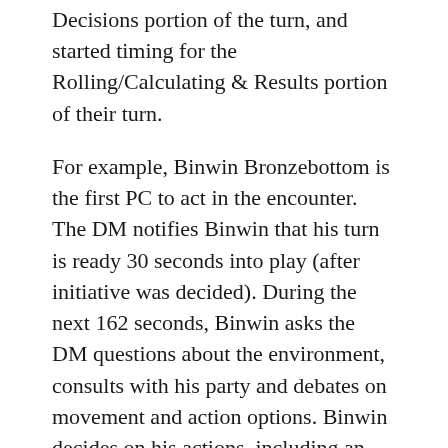Decisions portion of the turn, and started timing for the Rolling/Calculating & Results portion of their turn.
For example, Binwin Bronzebottom is the first PC to act in the encounter. The DM notifies Binwin that his turn is ready 30 seconds into play (after initiative was decided). During the next 162 seconds, Binwin asks the DM questions about the environment, consults with his party and debates on movement and action options. Binwin decides on his actions, including an attack, and decides to roll his d20 at the 3:12 mark of the podcast. These actions were placed in the first category described above – Roleplaying & Tactical Decisions.